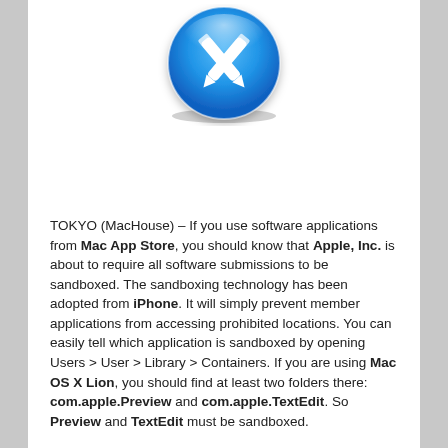[Figure (logo): Apple Mac App Store icon — blue circular badge with white pencil/brush tools crossed (App Store developer icon)]
TOKYO (MacHouse) – If you use software applications from Mac App Store, you should know that Apple, Inc. is about to require all software submissions to be sandboxed. The sandboxing technology has been adopted from iPhone. It will simply prevent member applications from accessing prohibited locations. You can easily tell which application is sandboxed by opening Users > User > Library > Containers. If you are using Mac OS X Lion, you should find at least two folders there: com.apple.Preview and com.apple.TextEdit. So Preview and TextEdit must be sandboxed.